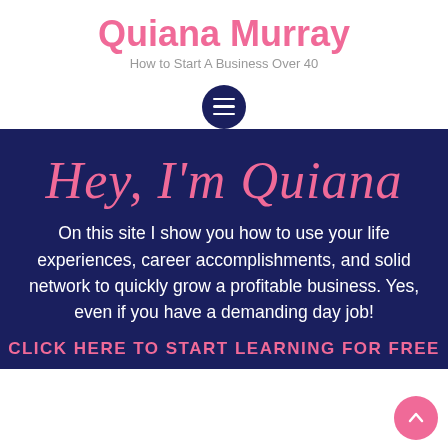Quiana Murray
How to Start A Business Over 40
[Figure (other): Dark navy circular menu button with three horizontal white lines (hamburger icon)]
Hey, I'm Quiana
On this site I show you how to use your life experiences, career accomplishments, and solid network to quickly grow a profitable business. Yes, even if you have a demanding day job!
CLICK HERE TO START LEARNING FOR FREE